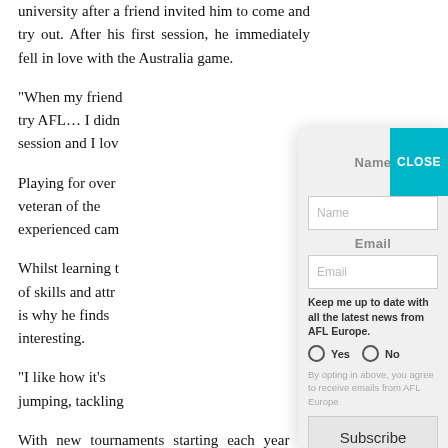university after a friend invited him to come and try out. After his first session, he immediately fell in love with the Australia game.
"When my friend invited me try AFL... I didn't session and I lov...
Playing for over e... veteran of the... experienced cam...
Whilst learning t... of skills and attr... is why he finds... interesting.
"I like how it's... jumping, tackling...
With new tournaments starting each year in various...
[Figure (other): Newsletter subscription modal overlay with Name field, Email field, newsletter opt-in radio buttons (Yes/No), consent text, and Subscribe button. Includes a teal CLOSE button in top-right corner.]